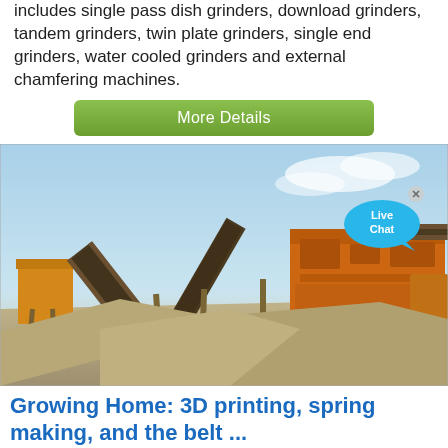includes single pass dish grinders, download grinders, tandem grinders, twin plate grinders, single end grinders, water cooled grinders and external chamfering machines.
More Details
[Figure (photo): Industrial mining/crushing machinery with orange conveyor belts and equipment on a dusty site with a blue sky background. A 'Live Chat' bubble is overlaid in the top right area.]
Growing Home: 3D printing, spring making, and the belt ...
· 3D printing, spring making, and the belt-grinder bench build More 3D printing fun! I decided to get some more